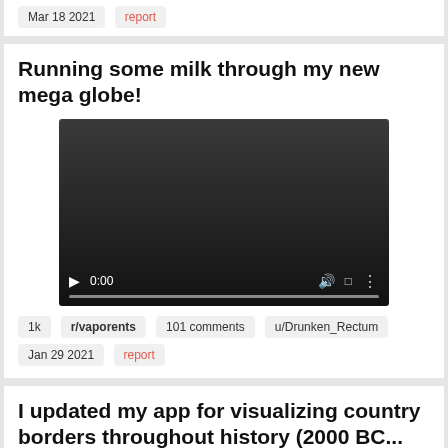Mar 18 2021   report
Running some milk through my new mega globe!
[Figure (screenshot): Embedded video player with dark background, playback controls showing 0:00 timestamp, speaker icon, fullscreen icon, and more options icon, with a progress bar at the bottom.]
1k   r/vaporents   101 comments   u/Drunken_Rectum
Jan 29 2021   report
I updated my app for visualizing country borders throughout history (2000 BC...